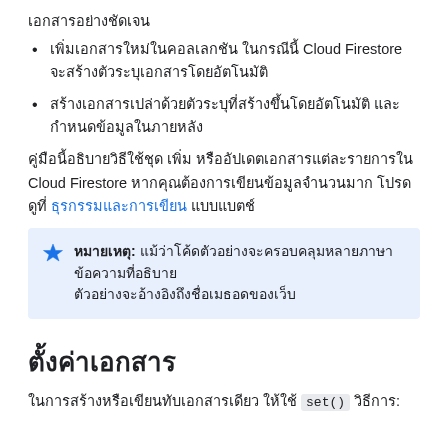เอกสารอย่างชัดเจน
เพิ่มเอกสารใหม่ในคอลเลกชัน ในกรณีนี้ Cloud Firestore จะสร้างตัวระบุเอกสารโดยอัตโนมัติ
สร้างเอกสารเปล่าด้วยตัวระบุที่สร้างขึ้นโดยอัตโนมัติ และกำหนดข้อมูลในภายหลัง
คู่มือนี้อธิบายวิธีใช้ชุด เพิ่ม หรืออัปเดตเอกสารแต่ละรายการใน Cloud Firestore หากคุณต้องการเขียนข้อมูลจำนวนมาก โปรดดูที่ ธุรกรรมและการเขียน แบบแบตช์
หมายเหตุ: แม้ว่าโค้ดตัวอย่างจะครอบคลุมหลายภาษา ข้อความที่อธิบายตัวอย่างจะอ้างอิงถึงชื่อเมธอดของเว็บ
ตั้งค่าเอกสาร
ในการสร้างหรือเขียนทับเอกสารเดียว ให้ใช้ set() วิธีการ: